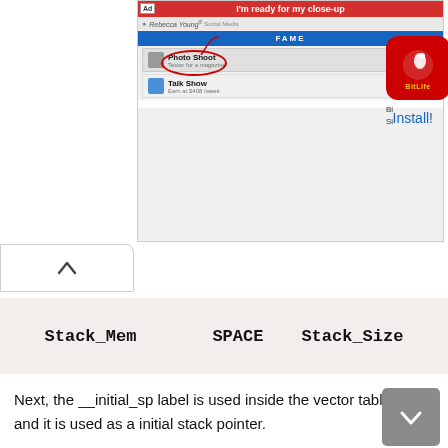[Figure (screenshot): Advertisement banner showing a mobile app store ad for BitLife game with 'I'm ready for my close-up' text, app listings including 'Photo Shoot' and 'Talk Show', and an Install button. BitLife icon visible on the right.]
[Figure (screenshot): Scroll-up navigation button (chevron up) in a white tab on the left side of the page]
| Stack_Mem | SPACE | Stack_Size |
| --- | --- | --- |
Next, the __initial_sp label is used inside the vector table and it is used as a initial stack pointer.
Define Heap Area
These lines define the heap section and assign it space in memory similar to the stack memory